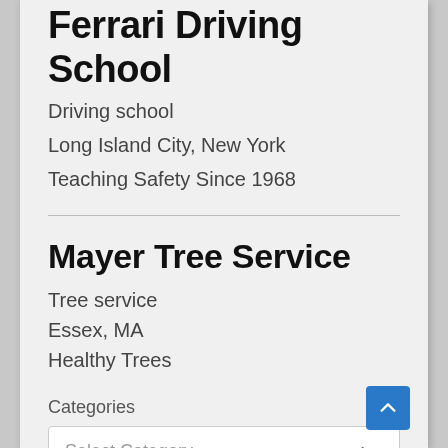Ferrari Driving School
Driving school
Long Island City, New York
Teaching Safety Since 1968
Mayer Tree Service
Tree service
Essex, MA
Healthy Trees
Categories
Select Category